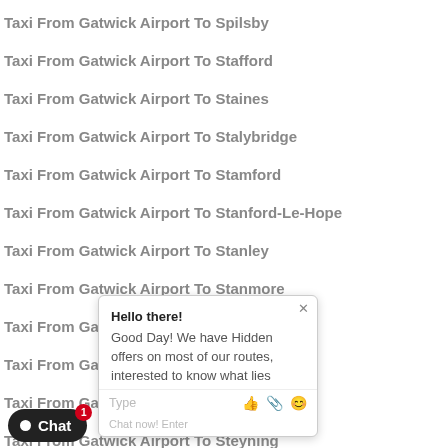Taxi From Gatwick Airport To Spilsby
Taxi From Gatwick Airport To Stafford
Taxi From Gatwick Airport To Staines
Taxi From Gatwick Airport To Stalybridge
Taxi From Gatwick Airport To Stamford
Taxi From Gatwick Airport To Stanford-Le-Hope
Taxi From Gatwick Airport To Stanley
Taxi From Gatwick Airport To Stanmore
Taxi From Gatwick Airport To Stansted
Taxi From Gatwick Airport To Stevenage
Taxi From Gatwick Airport To Stevenston
Taxi From Gatwick Airport To Steyning